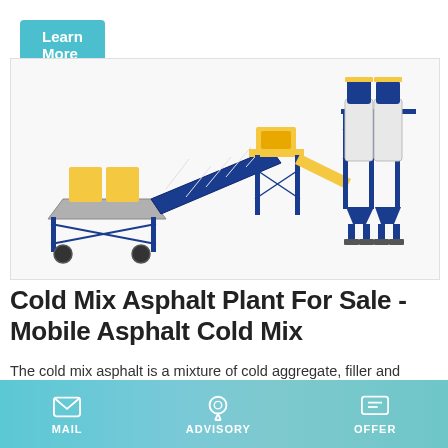Learn More
[Figure (photo): Industrial cold mix asphalt plant with blue steel frame, conveyor belt, silos and mixing unit on white background]
Cold Mix Asphalt Plant For Sale - Mobile Asphalt Cold Mix
The cold mix asphalt is a mixture of cold aggregate, filler and emulsion asphalt. The distinguished difference between cold mix asphalt and hot mix asphalt is the temperature. The cold mix asphalt blend aggregate, filler and emulsion asphalt at
MAIL   ADVISORY   OFFER